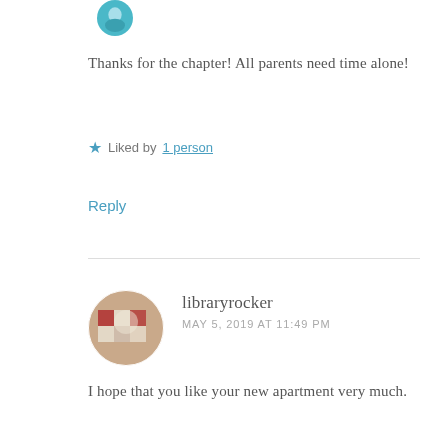[Figure (illustration): Circular avatar image with teal/turquoise color, partially visible at top]
Thanks for the chapter! All parents need time alone!
Liked by 1 person
Reply
[Figure (photo): Circular avatar photo of libraryrocker, showing a colorful image with red and white tones]
libraryrocker
MAY 5, 2019 AT 11:49 PM
I hope that you like your new apartment very much.
*hugs EVERYBODY*
THANK YOU VERY MUCH FOR BEING AWESOME!!!!!